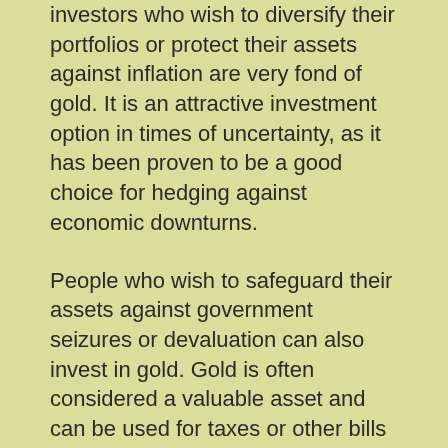Investors who wish to diversify their portfolios or protect their assets against inflation are very fond of gold. It is an attractive investment option in times of uncertainty, as it has been proven to be a good choice for hedging against economic downturns.
People who wish to safeguard their assets against government seizures or devaluation can also invest in gold. Gold is often considered a valuable asset and can be used for taxes or other bills in many countries.
It has been used for trade and currency for thousands of years. Due to its rarity and beauty, it has been a valued commodity throughout history. Although gold can be a reliable investment, its price can fluctuate significantly depending on market conditions.
It is important to realize that buying or selling gold is not an easy task. Before you invest in this precious metal, it is important to evaluate your financial...